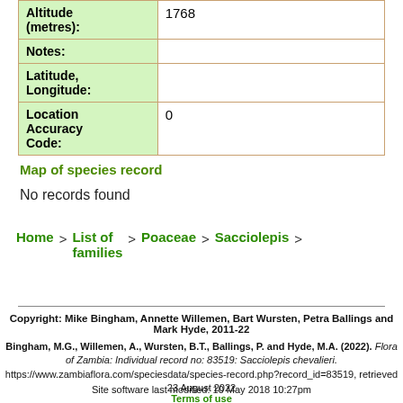| Field | Value |
| --- | --- |
| Altitude (metres): | 1768 |
| Notes: |  |
| Latitude, Longitude: |  |
| Location Accuracy Code: | 0 |
Map of species record
No records found
Home > List of families > Poaceae > Sacciolepis >
Copyright: Mike Bingham, Annette Willemen, Bart Wursten, Petra Ballings and Mark Hyde, 2011-22

Bingham, M.G., Willemen, A., Wursten, B.T., Ballings, P. and Hyde, M.A. (2022). Flora of Zambia: Individual record no: 83519: Sacciolepis chevalieri. https://www.zambiaflora.com/speciesdata/species-record.php?record_id=83519, retrieved 23 August 2022

Site software last modified: 10 May 2018 10:27pm
Terms of use